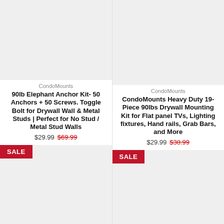[Figure (photo): Product image placeholder (light gray box) for 90lb Elephant Anchor Kit]
CondoMounts
90lb Elephant Anchor Kit- 50 Anchors + 50 Screws. Toggle Bolt for Drywall Wall & Metal Studs | Perfect for No Stud / Metal Stud Walls
$29.99  $69.99
[Figure (photo): Sale product image placeholder (light gray box), lower left]
[Figure (photo): Product image placeholder (light gray box) for CondoMounts Heavy Duty 19-Piece]
CondoMounts
CondoMounts Heavy Duty 19-Piece 90lbs Drywall Mounting Kit for Flat panel TVs, Lighting fixtures, Hand rails, Grab Bars, and More
$29.99  $38.99
[Figure (photo): Sale product image placeholder (light gray box), lower right]